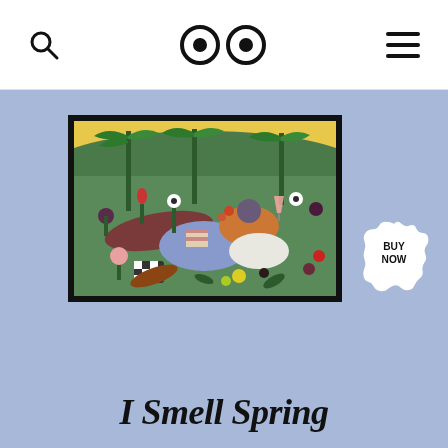Search | OO (logo) | Menu
[Figure (illustration): Framed illustration of two people relaxing in a colorful garden/meadow with flowers, plants, and palm trees. One person is lying down with a blue body, another is sitting with an orange arm holding a glass. The scene has a green meadow, yellow sky background. A 'BUY NOW' badge appears as a scalloped white circle overlay in the top-right area of the image.]
I Smell Spring